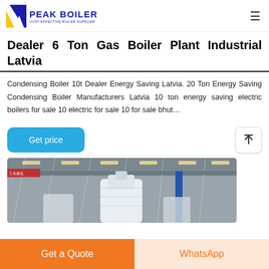PEAK BOILER - COST-EFFECTIVE BOILER SUPPLIER
Dealer 6 Ton Gas Boiler Plant Industrial Latvia
Condensing Boiler 10t Dealer Energy Saving Latvia. 20 Ton Energy Saving Condensing Boiler Manufacturers Latvia 10 ton energy saving electric boilers for sale 10 electric for sale 10 for sale bhut…
[Figure (photo): Factory/warehouse interior showing industrial boiler equipment wrapped in white protective covering, with overhead lighting and crane structure visible]
Get a Quote | WhatsApp